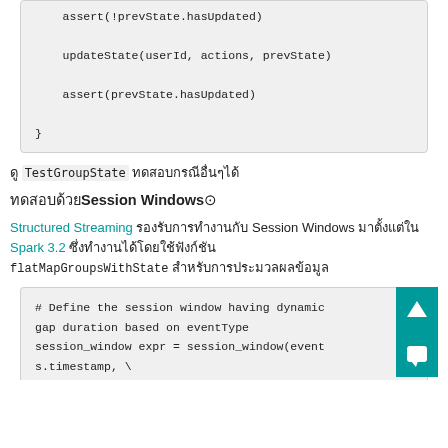assert(!prevState.hasUpdated)

updateState(userId, actions, prevState)

assert(prevState.hasUpdated)

}
TestGroupState ทดสอบกรณีอื่นๆได้
ทดสอบด้วย Session Windows
Structured Streaming รองรับการทำงานกับ Session Windows มาตั้งแต่ใน Spark 3.2 ซึ่งทำงานได้โดยใช้ฟังก์ชัน flatMapGroupsWithState สำหรับการประมวลผลข้อมูล
# Define the session window having dynamic gap duration based on eventType
session_window expr = session_window(events.timestamp, \